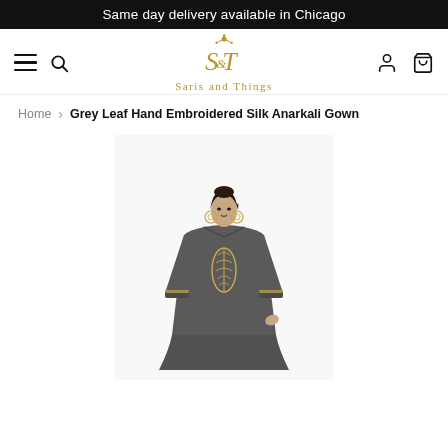Same day delivery available in Chicago
[Figure (logo): Saris and Things logo — gold monogram ST with floral ornament above text 'Saris and Things']
Home > Grey Leaf Hand Embroidered Silk Anarkali Gown
[Figure (photo): A woman wearing a grey silk Anarkali gown with gold leaf embroidery at the chest and cuffs, photographed from the waist up]